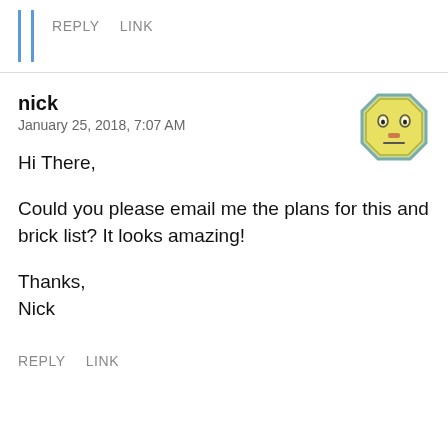REPLY   LINK
nick
January 25, 2018, 7:07 AM
[Figure (illustration): Yellow emoji-style face avatar with octagonal shape, with simple eyes and a straight mouth]
Hi There,

Could you please email me the plans for this and brick list? It looks amazing!

Thanks,
Nick
REPLY   LINK